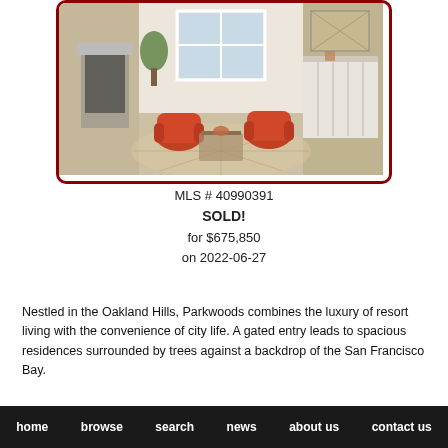[Figure (photo): Interior photo of a bright, modern living room with two orange/red accent chairs, a fireplace, hardwood floors with a sunburst-pattern rug, large windows, plants, and a white sideboard. Framed with a dark red/maroon border with rounded corners.]
MLS # 40990391
SOLD!
for $675,850
on 2022-06-27
Nestled in the Oakland Hills, Parkwoods combines the luxury of resort living with the convenience of city life. A gated entry leads to spacious residences surrounded by trees against a backdrop of the San Francisco Bay.
home   browse   search   news   about us   contact us